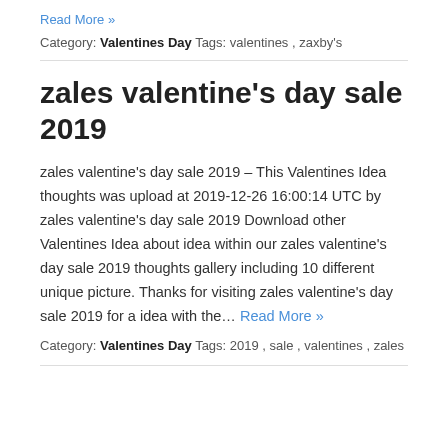Read More »
Category: Valentines Day Tags: valentines , zaxby's
zales valentine's day sale 2019
zales valentine's day sale 2019 – This Valentines Idea thoughts was upload at 2019-12-26 16:00:14 UTC by zales valentine's day sale 2019 Download other Valentines Idea about idea within our zales valentine's day sale 2019 thoughts gallery including 10 different unique picture. Thanks for visiting zales valentine's day sale 2019 for a idea with the… Read More »
Category: Valentines Day Tags: 2019 , sale , valentines , zales